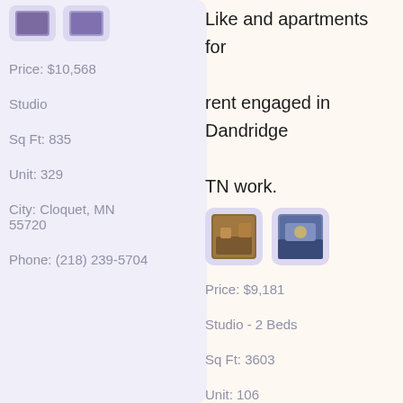[Figure (photo): Two small thumbnail images of apartment/property listings in rounded purple boxes]
Price: $10,568
Studio
Sq Ft: 835
Unit: 329
City: Cloquet, MN 55720
Phone: (218) 239-5704
Like and apartments for rent engaged in Dandridge TN work.
[Figure (photo): Two thumbnail images of apartment listings in rounded purple boxes]
Price: $9,181
Studio - 2 Beds
Sq Ft: 3603
Unit: 106